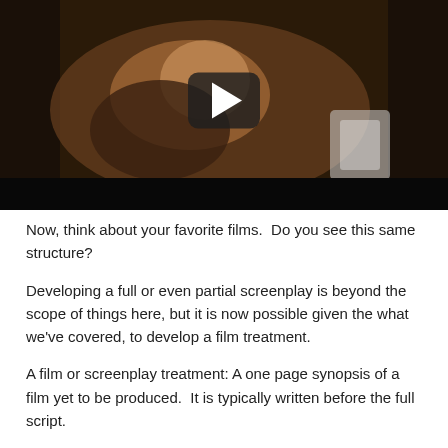[Figure (screenshot): Video thumbnail of a movie scene (Die Hard) showing a man crawling through a duct, with a YouTube-style play button overlay and a dark letterbox bar at the bottom.]
Now, think about your favorite films.  Do you see this same structure?
Developing a full or even partial screenplay is beyond the scope of things here, but it is now possible given the what we've covered, to develop a film treatment.
A film or screenplay treatment: A one page synopsis of a film yet to be produced.  It is typically written before the full script.
Could you write a treatment for the next big film written by you?